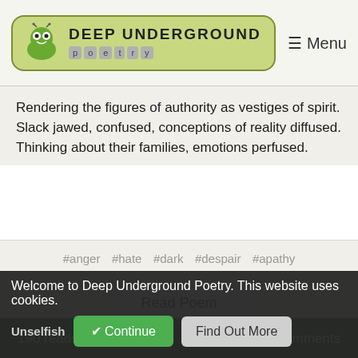Deep Underground Poetry — Menu
Rendering the figures of authority as vestiges of spirit.
Slack jawed, confused, conceptions of reality diffused.
Thinking about their families, emotions perfused.
#anger #hate #dark #despair #apathy
Read Poem
190 reads   3 Comments
Erotic_Goddess
Poem Published
Unselfish
Welcome to Deep Underground Poetry. This website uses cookies.
✔ Continue   Find Out More